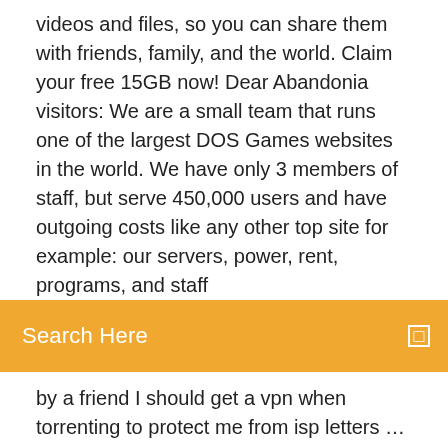videos and files, so you can share them with friends, family, and the world. Claim your free 15GB now! Dear Abandonia visitors: We are a small team that runs one of the largest DOS Games websites in the world. We have only 3 members of staff, but serve 450,000 users and have outgoing costs like any other top site for example: our servers, power, rent, programs, and staff
Search Here
by a friend I should get a vpn when torrenting to protect me from isp letters … 18 votes, 39 comments. Good day to you, I am looking into buying a subscription to a VPN-service. Whilst browsing this subreddit I saw some people … After connecting pesky malware programs to my torrent client, I have decided to do away with torrenting. Started buying games on steam, watching … 13 votes, 26 comments. Hey so a friend of mine pirated Tropic Thunder on the pirate bay a few days ago and just got emailed a warning notice from … 15 2021 (فبراير) شباط Legit Torrenters